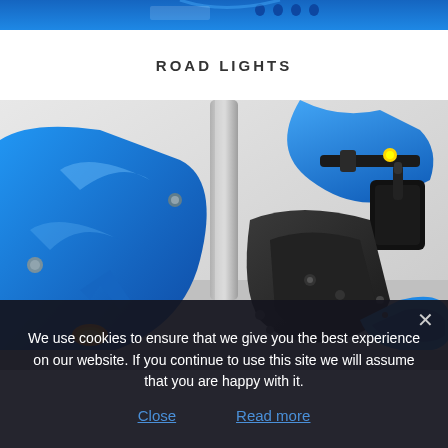[Figure (photo): Close-up top portion of a blue mobility scooter with decorative panels, showing partial blue bodywork against white background]
ROAD LIGHTS
[Figure (photo): Close-up of a blue mobility scooter showing controls, steering mechanism, blue frame, black joystick control, and orange side indicator light on the blue body panel. Gray background.]
We use cookies to ensure that we give you the best experience on our website. If you continue to use this site we will assume that you are happy with it.
Close   Read more